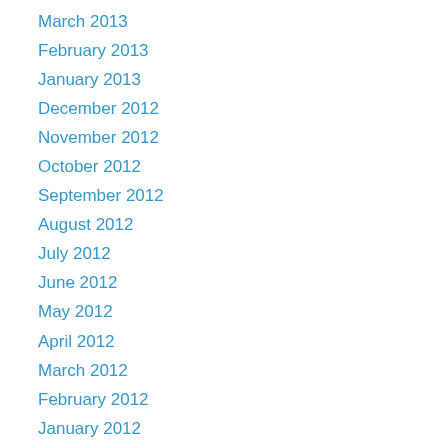March 2013
February 2013
January 2013
December 2012
November 2012
October 2012
September 2012
August 2012
July 2012
June 2012
May 2012
April 2012
March 2012
February 2012
January 2012
November 2011
September 2011
July 2011
April 2011
March 2011